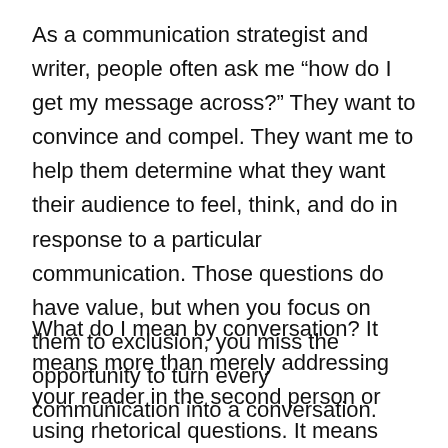As a communication strategist and writer, people often ask me “how do I get my message across?” They want to convince and compel. They want me to help them determine what they want their audience to feel, think, and do in response to a particular communication. Those questions do have value, but when you focus on them to exclusion, you miss the opportunity to turn every communication into a conversation.
What do I mean by conversation? It means more than merely addressing your reader in the second person or using rhetorical questions. It means